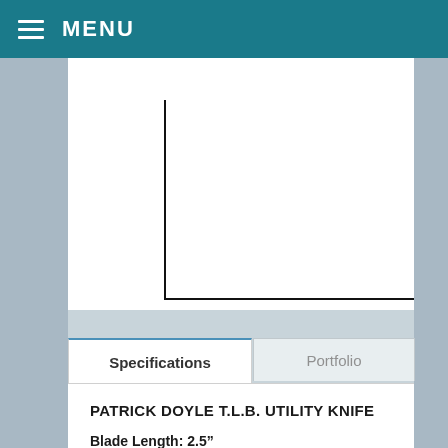MENU
[Figure (other): White document panel with an L-shaped black border line visible at bottom-left, representing a partially visible product image or document]
Specifications | Portfolio
PATRICK DOYLE T.L.B. UTILITY KNIFE
Blade Length: 2.5"